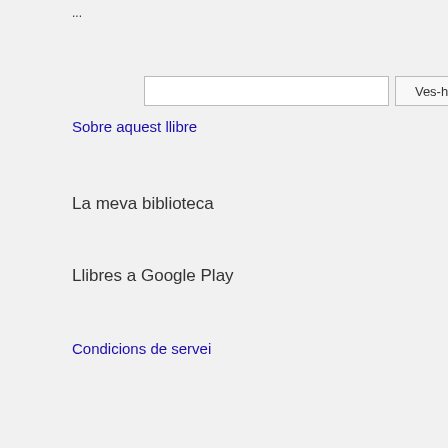...
Ves-hi
Sobre aquest llibre
La meva biblioteca
Llibres a Google Play
Condicions de servei
[Figure (photo): Scanned page of an old Bible showing Genesis chapter 4, verses about Cain and Abel, in archaic English typography on yellowed paper]
1& Unto the woman he faid, I... forrow and thy conception; in wi...